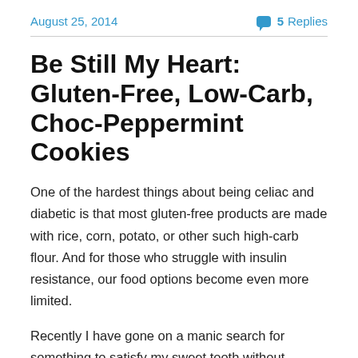August 25, 2014 | 5 Replies
Be Still My Heart: Gluten-Free, Low-Carb, Choc-Peppermint Cookies
One of the hardest things about being celiac and diabetic is that most gluten-free products are made with rice, corn, potato, or other such high-carb flour. And for those who struggle with insulin resistance, our food options become even more limited.
Recently I have gone on a manic search for something to satisfy my sweet tooth without endangering my well-being. And my experiments have finally paid off, for I have discovered one of the most beautiful things in the world...